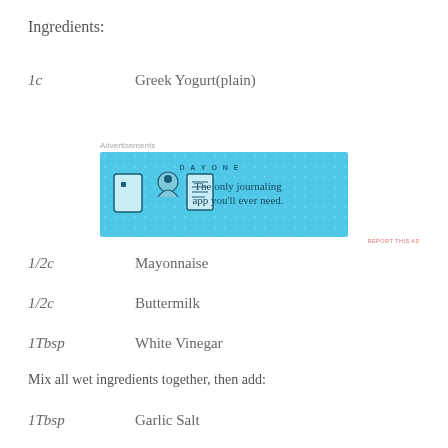Ingredients:
1c    Greek Yogurt(plain)
[Figure (other): Advertisement banner for Day One journaling app with blue background, icons, and text 'The only journaling app you'll ever need.']
1/2c    Mayonnaise
1/2c    Buttermilk
1Tbsp    White Vinegar
Mix all wet ingredients together, then add:
1Tbsp    Garlic Salt